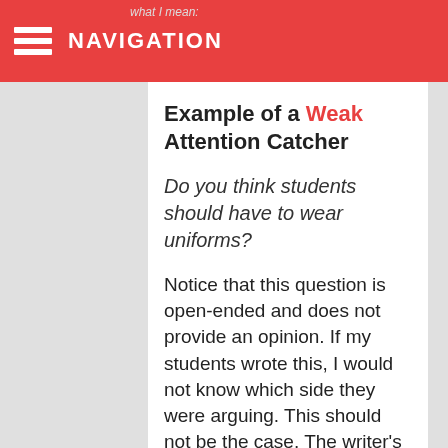what I mean: NAVIGATION
Example of a Weak Attention Catcher
Do you think students should have to wear uniforms?
Notice that this question is open-ended and does not provide an opinion. If my students wrote this, I would not know which side they were arguing. This should not be the case. The writer's position should be clear before they even mention it based on the strength of their attention catcher.